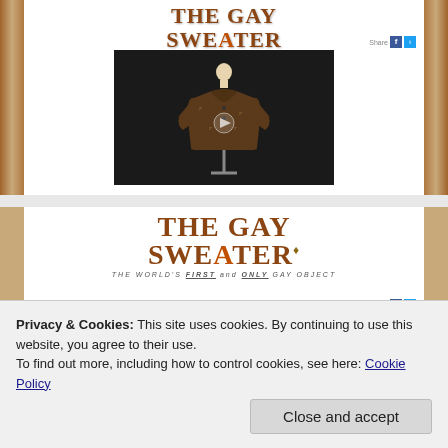[Figure (screenshot): Screenshot of 'The Gay Sweater' website showing logo with text 'THE GAY SWEATER - THE WORLD'S FIRST AND ONLY GAY OBJECT', social share icons, and a dark product photo of a sweater on a mannequin, with decorative wood-textured borders and crafting items.]
[Figure (screenshot): Second screenshot of 'The Gay Sweater' website showing the same logo in larger format, social share icons, and a dark product video thumbnail, partially obscured by cookie consent banner.]
Privacy & Cookies: This site uses cookies. By continuing to use this website, you agree to their use.
To find out more, including how to control cookies, see here: Cookie Policy
Close and accept